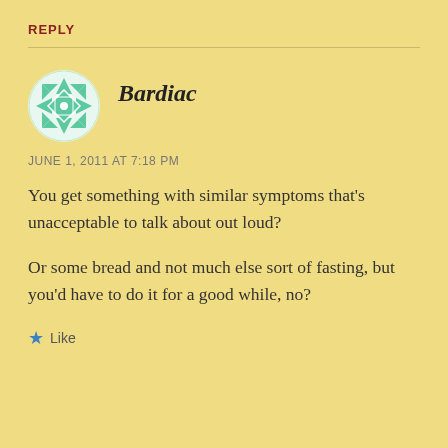REPLY
[Figure (illustration): Green and white quilted/geometric pattern avatar icon for user Bardiac]
Bardiac
JUNE 1, 2011 AT 7:18 PM
You get something with similar symptoms that’s unacceptable to talk about out loud?
Or some bread and not much else sort of fasting, but you’d have to do it for a good while, no?
★ Like